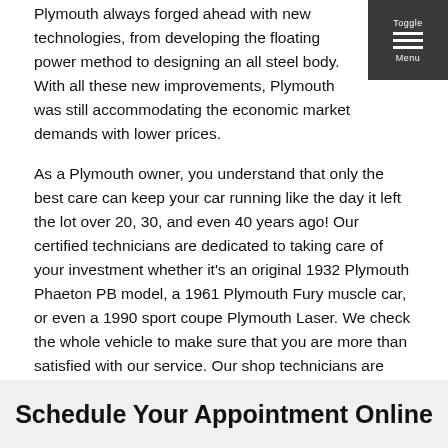Plymouth always forged ahead with new technologies, from developing the floating power method to designing an all steel body. With all these new improvements, Plymouth was still accommodating the economic market demands with lower prices.
As a Plymouth owner, you understand that only the best care can keep your car running like the day it left the lot over 20, 30, and even 40 years ago! Our certified technicians are dedicated to taking care of your investment whether it's an original 1932 Plymouth Phaeton PB model, a 1961 Plymouth Fury muscle car, or even a 1990 sport coupe Plymouth Laser. We check the whole vehicle to make sure that you are more than satisfied with our service. Our shop technicians are dedicated to their craft, and we hold our customers as our number one priority.
We are passionate about delivering the best and most professional work, and unlike our competitors, we stick with the Plymouth concept of top of the line work at better prices. Give us a call and schedule an appointment today!
Schedule Your Appointment Online